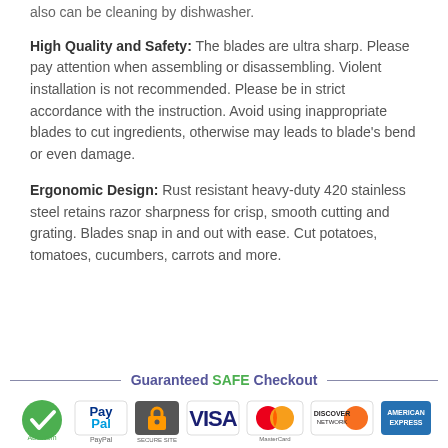also can be cleaning by dishwasher.
High Quality and Safety: The blades are ultra sharp. Please pay attention when assembling or disassembling. Violent installation is not recommended. Please be in strict accordance with the instruction. Avoid using inappropriate blades to cut ingredients, otherwise may leads to blade's bend or even damage.
Ergonomic Design: Rust resistant heavy-duty 420 stainless steel retains razor sharpness for crisp, smooth cutting and grating. Blades snap in and out with ease. Cut potatoes, tomatoes, cucumbers, carrots and more.
[Figure (infographic): Guaranteed SAFE Checkout banner with payment icons: AES, PayPal, padlock/secure, VISA, MasterCard, Discover Network, American Express]